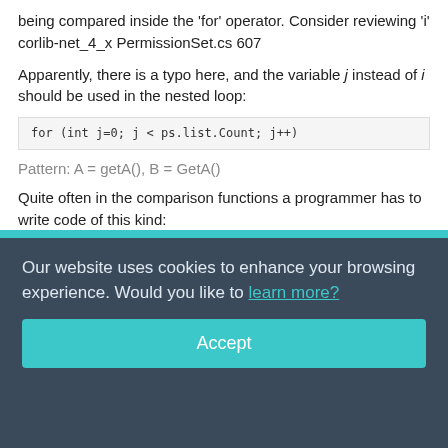being compared inside the 'for' operator. Consider reviewing 'i' corlib-net_4_x PermissionSet.cs 607
Apparently, there is a typo here, and the variable j instead of i should be used in the nested loop:
for (int j=0; j < ps.list.Count; j++)
Pattern: A = getA(), B = GetA()
Quite often in the comparison functions a programmer has to write code of this kind:
if (GetA().x == GetB().x && GetA().y == GetB().y)
Intermediate variables are used to reduce the size of the
Our website uses cookies to enhance your browsing experience. Would you like to learn more?
Accept